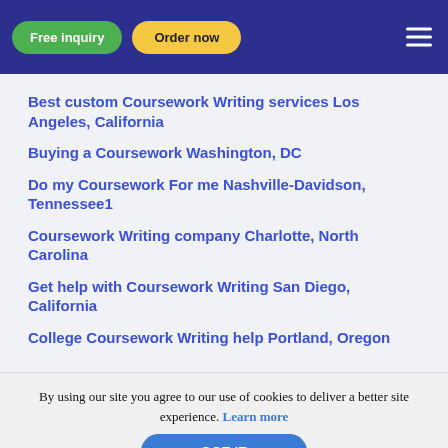Free inquiry | Order now
Best custom Coursework Writing services Los Angeles, California
Buying a Coursework Washington, DC
Do my Coursework For me Nashville-Davidson, Tennessee1
Coursework Writing company Charlotte, North Carolina
Get help with Coursework Writing San Diego, California
College Coursework Writing help Portland, Oregon
By using our site you agree to our use of cookies to deliver a better site experience. Learn more
GOT IT